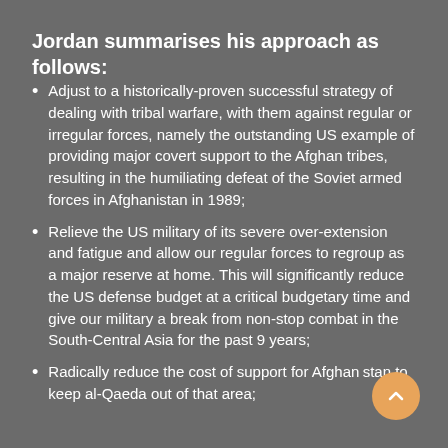Jordan summarises his approach as follows:
Adjust to a historically-proven successful strategy of dealing with tribal warfare, with them against regular or irregular forces, namely the outstanding US example of providing major covert support to the Afghan tribes, resulting in the humiliating defeat of the Soviet armed forces in Afghanistan in 1989;
Relieve the US military of its severe over-extension and fatigue and allow our regular forces to regroup as a major reserve at home. This will significantly reduce the US defense budget at a critical budgetary time and give our military a break from non-stop combat in the South-Central Asia for the past 9 years;
Radically reduce the cost of support for Afghanistan to keep al-Qaeda out of that area;